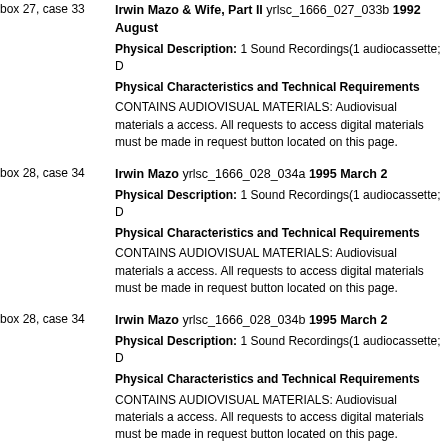box 27, case 33 — Irwin Mazo & Wife, Part II yrlsc_1666_027_033b 1992 August
Physical Description: 1 Sound Recordings(1 audiocassette; D...
Physical Characteristics and Technical Requirements
CONTAINS AUDIOVISUAL MATERIALS: Audiovisual materials a... access. All requests to access digital materials must be made in... request button located on this page.
box 28, case 34 — Irwin Mazo yrlsc_1666_028_034a 1995 March 2
Physical Description: 1 Sound Recordings(1 audiocassette; D...
Physical Characteristics and Technical Requirements
CONTAINS AUDIOVISUAL MATERIALS: Audiovisual materials a... access. All requests to access digital materials must be made in... request button located on this page.
box 28, case 34 — Irwin Mazo yrlsc_1666_028_034b 1995 March 2
Physical Description: 1 Sound Recordings(1 audiocassette; D...
Physical Characteristics and Technical Requirements
CONTAINS AUDIOVISUAL MATERIALS: Audiovisual materials a... access. All requests to access digital materials must be made in... request button located on this page.